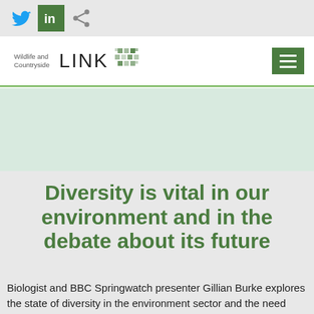Social share icons: Twitter, LinkedIn, Share
[Figure (logo): Wildlife and Countryside LINK logo with diamond pattern icon and hamburger menu button]
[Figure (photo): Light teal/green hero image area]
Diversity is vital in our environment and in the debate about its future
Biologist and BBC Springwatch presenter Gillian Burke explores the state of diversity in the environment sector and the need